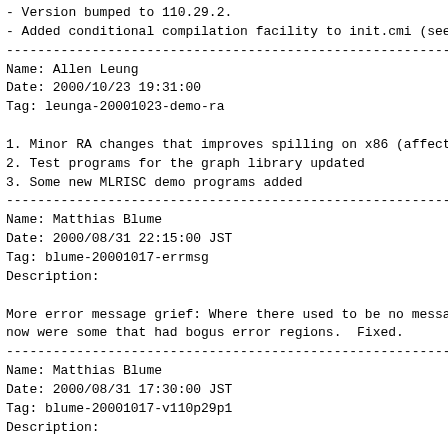- Version bumped to 110.29.2.
- Added conditional compilation facility to init.cmi (see comment
Name: Allen Leung
Date: 2000/10/23 19:31:00
Tag: leunga-20001023-demo-ra

1. Minor RA changes that improves spilling on x86 (affects Moby a
2. Test programs for the graph library updated
3. Some new MLRISC demo programs added
Name: Matthias Blume
Date: 2000/08/31 22:15:00 JST
Tag: blume-20001017-errmsg
Description:

More error message grief: Where there used to be no messages, the
now were some that had bogus error regions.  Fixed.
Name: Matthias Blume
Date: 2000/08/31 17:30:00 JST
Tag: blume-20001017-v110p29p1
Description:

I made a version 110.29.1 with new bootfiles.

Changes:  Modified pickler/unpickler for faster and leaner unpick
          CM documentation changes and a small bugfix in CM's err
Name: Lal George
Date: 2000/09/27 14:42:35 EDT
Tag: george-20000927-nodestatus
Description:

Changed the type of the nodestatus  so that: